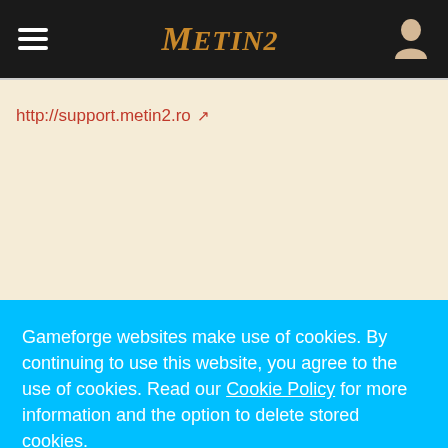Metin2 navigation bar
http://support.metin2.ro
petR1x likes this.
Miaunet
Guest
Gameforge websites make use of cookies. By continuing to use this website, you agree to the use of cookies. Read our Cookie Policy for more information and the option to delete stored cookies.
Understood